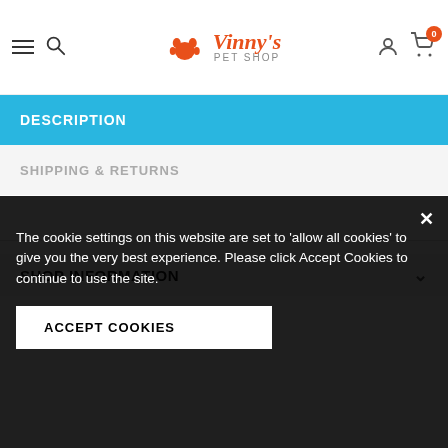Vinny's Pet Shop — navigation header with hamburger menu, search icon, logo, user icon, and cart (0)
DESCRIPTION
SHIPPING & RETURNS
SHOP INFORMATION
Re... our products and promotions.
The cookie settings on this website are set to 'allow all cookies' to give you the very best experience. Please click Accept Cookies to continue to use the site.
ACCEPT COOKIES